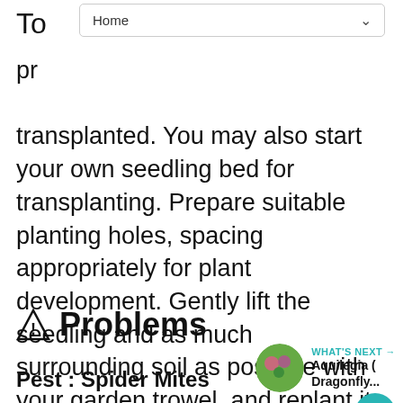Home
produce your own seedlings and can be transplanted. You may also start your own seedling bed for transplanting. Prepare suitable planting holes, spacing appropriately for plant development. Gently lift the seedling and as much surrounding soil as possible with your garden trowel, and replant it immediately, firming soil with fingertips and water well. Shade from direct sun and water regularly until stable.
⚠ Problems
Pest : Spider Mites